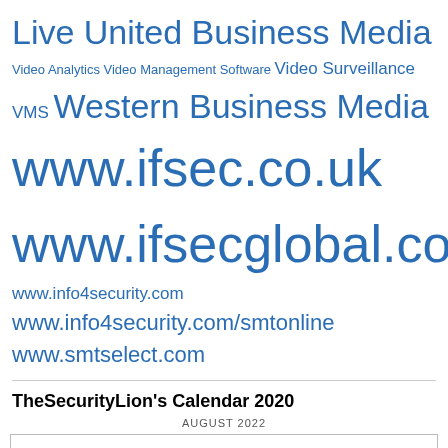Live United Business Media Video Analytics Video Management Software Video Surveillance VMS Western Business Media www.ifsec.co.uk www.ifsecglobal.com www.info4security.com www.info4security.com/smtonline www.smtselect.com
TheSecurityLion's Calendar 2020
AUGUST 2022
Privacy & Cookies: This site uses cookies. By continuing to use this website, you agree to their use.
To find out more, including how to control cookies, see here: Cookie Policy
Close and accept